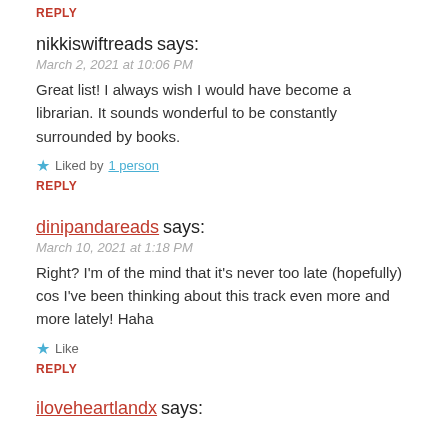REPLY
nikkiswiftreads says:
March 2, 2021 at 10:06 PM
Great list! I always wish I would have become a librarian. It sounds wonderful to be constantly surrounded by books.
Liked by 1 person
REPLY
dinipandareads says:
March 10, 2021 at 1:18 PM
Right? I'm of the mind that it's never too late (hopefully) cos I've been thinking about this track even more and more lately! Haha
Like
REPLY
iloveheartlandx says: